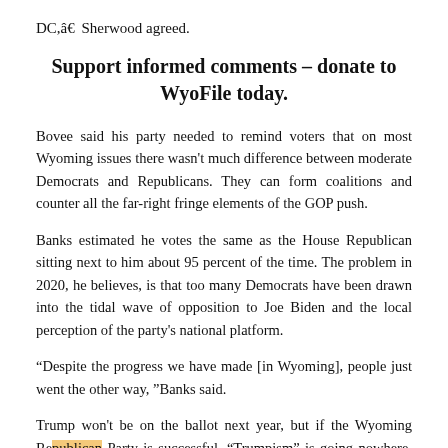DC,â€ Sherwood agreed.
Support informed comments – donate to WyoFile today.
Bovee said his party needed to remind voters that on most Wyoming issues there wasn't much difference between moderate Democrats and Republicans. They can form coalitions and counter all the far-right fringe elements of the GOP push.
Banks estimated he votes the same as the House Republican sitting next to him about 95 percent of the time. The problem in 2020, he believes, is that too many Democrats have been drawn into the tidal wave of opposition to Joe Biden and the local perception of the party's national platform.
“Despite the progress we have made [in Wyoming], people just went the other way, ”Banks said.
Trump won't be on the ballot next year, but if the Wyoming Republican Party is successful, “Trumpism” is going nowhere. It’s their best